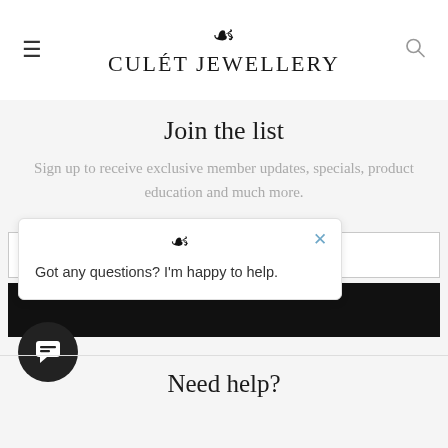CULÉT JEWELLERY
Join the list
Sign up to receive exclusive member updates, specials, product education and much more.
[Figure (screenshot): Chat popup with fleur-de-lis icon, close button (×), and text: Got any questions? I'm happy to help.]
[Figure (other): Chat button (dark circular button with chat icon) at bottom left]
Need help?